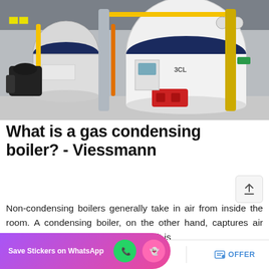[Figure (photo): Industrial boiler room with multiple large cylindrical gas boilers in white and blue, connected by yellow and orange piping, red burner units visible, inside an industrial facility]
What is a gas condensing boiler? - Viessmann
Non-condensing boilers generally take in air from inside the room. A condensing boiler, on the other hand, captures air directly from the outside of the room it is [installed in, and the room is com]pletely sealed for heat insulatio…
[Figure (screenshot): Save Stickers on WhatsApp promotional banner with phone and ghost emoji icons on purple-pink gradient background]
MAIL   ADVISORY   OFFER